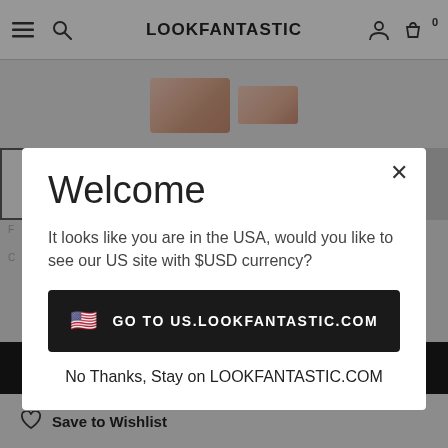[Figure (screenshot): LOOKFANTASTIC website screenshot showing navigation bar with hamburger menu, search icon, LOOKFANTASTIC logo, user icon, basket icon with 0 count, product images in background, thumbnail row, and an Add to Basket button at bottom]
Welcome
It looks like you are in the USA, would you like to see our US site with $USD currency?
🇺🇸  GO TO US.LOOKFANTASTIC.COM
No Thanks, Stay on LOOKFANTASTIC.COM
Save to Wishlist